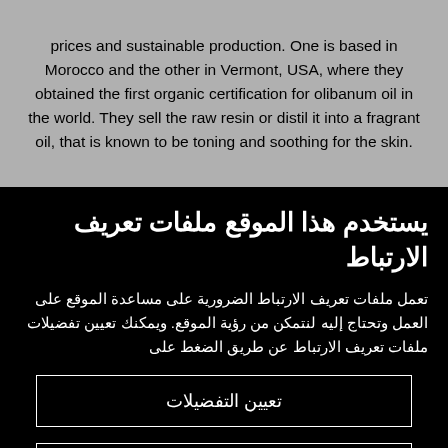prices and sustainable production. One is based in Morocco and the other in Vermont, USA, where they obtained the first organic certification for olibanum oil in the world. They sell the raw resin or distil it into a fragrant oil, that is known to be toning and soothing for the skin.
يستخدم هذا الموقع ملفات تعريف الارتباط
تعمل ملفات تعريف الارتباط الضرورية على مساعدة الموقع على العمل وتحتاج إليه لنتمكن من رؤية الموقع. ويمكنك تعيين تفضيلات ملفات تعريف الارتباط عن طريق الضغط على
تعيين التفضيلات
رفض ملفات التعريف غير الضرورية.